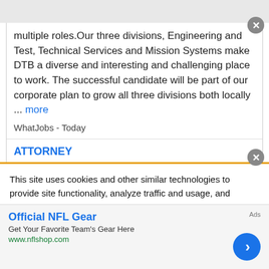multiple roles.Our three divisions, Engineering and Test, Technical Services and Mission Systems make DTB a diverse and interesting and challenging place to work. The successful candidate will be part of our corporate plan to grow all three divisions both locally ... more
WhatJobs - Today
ATTORNEY
United Auto Insurance - Miami Gardens , FL
This site uses cookies and other similar technologies to provide site functionality, analyze traffic and usage, and
Official NFL Gear
Get Your Favorite Team's Gear Here
www.nflshop.com